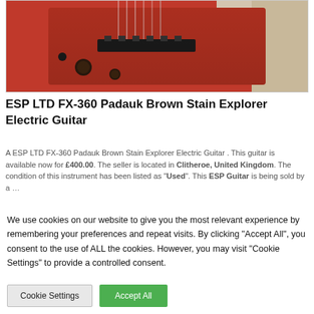[Figure (photo): Close-up photo of an ESP LTD FX-360 Padauk Brown Stain Explorer Electric Guitar showing the red/brown body, bridge, and tuning hardware against a white background.]
ESP LTD FX-360 Padauk Brown Stain Explorer Electric Guitar
A ESP LTD FX-360 Padauk Brown Stain Explorer Electric Guitar . This guitar is available now for £400.00. The seller is located in Clitheroe, United Kingdom. The condition of this instrument has been listed as "Used". This ESP Guitar is being sold by a …
We use cookies on our website to give you the most relevant experience by remembering your preferences and repeat visits. By clicking "Accept All", you consent to the use of ALL the cookies. However, you may visit "Cookie Settings" to provide a controlled consent.